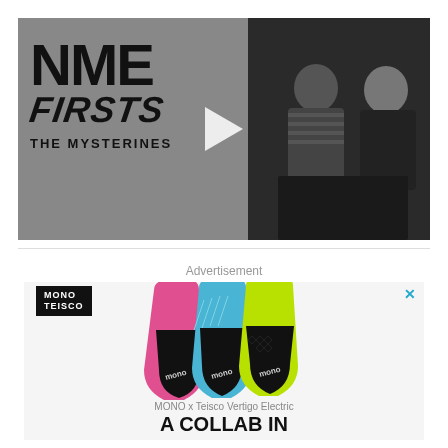[Figure (screenshot): NME Firsts video thumbnail featuring The Mysterines. Left half shows NME Firsts logo text on grey background with a play button. Right half shows two people sitting in a dark setting.]
Advertisement
[Figure (photo): Advertisement for MONO x Teisco Vertigo Electric guitar bags. Shows three colorful guitar bags (pink, blue/teal, and yellow-green) with MONO branding. Text reads 'MONO x Teisco Vertigo Electric' and 'A COLLAB IN'. Has a close X button and MONO/TEISCO logo labels.]